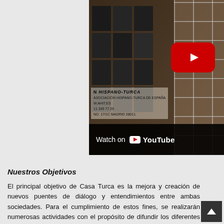[Figure (screenshot): YouTube video thumbnail showing a window display with a Spanish-Turkish association sign (N HISPANO-TURCA, W.AHIT.ES, 11 345 77 29, NO. 17/1C MADRID 28011) and a photo grid collage on the left, glass/window grid on the right, with a red YouTube play button in the upper right and a 'Watch on YouTube' overlay bar at the bottom.]
Nuestros Objetivos
El principal objetivo de Casa Turca es la mejora y creación de nuevos puentes de diálogo y entendimientos entre ambas sociedades. Para el cumplimiento de estos fines, se realizarán numerosas actividades con el propósito de difundir los diferentes aspectos de la cultura